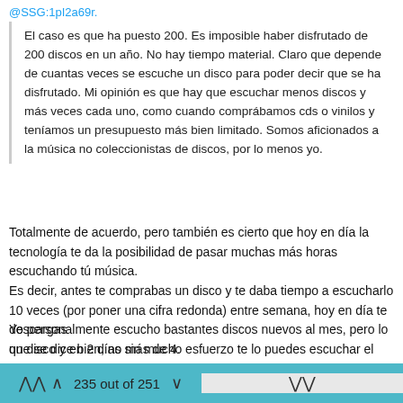@SSG:1pI2a69r.
El caso es que ha puesto 200. Es imposible haber disfrutado de 200 discos en un año. No hay tiempo material. Claro que depende de cuantas veces se escuche un disco para poder decir que se ha disfrutado. Mi opinión es que hay que escuchar menos discos y más veces cada uno, como cuando comprábamos cds o vinilos y teníamos un presupuesto más bien limitado. Somos aficionados a la música no coleccionistas de discos, por lo menos yo.
Totalmente de acuerdo, pero también es cierto que hoy en día la tecnología te da la posibilidad de pasar muchas más horas escuchando tú música.
Es decir, antes te comprabas un disco y te daba tiempo a escucharlo 10 veces (por poner una cifra redonda) entre semana, hoy en día te descargas
un disco y en 2 días sin mucho esfuerzo te lo puedes escuchar el mismo número de veces.
Yo personalmente escucho bastantes discos nuevos al mes, pero lo que se dice bien, no más de 4.
235 out of 251